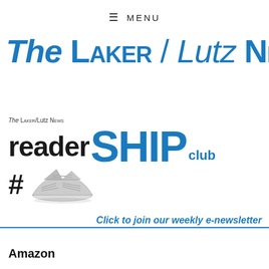≡ MENU
The Laker / Lutz News
[Figure (logo): The Laker/Lutz News readerSHIP club logo with newspaper origami boat graphic, hash symbol, and 'reader' in black bold text, 'SHIP' in large blue bold text, 'club' in smaller blue text]
Click to join our weekly e-newsletter
Amazon